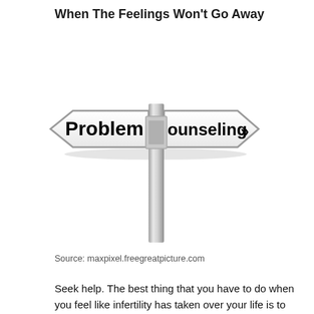When The Feelings Won't Go Away
[Figure (illustration): A street sign pole with two opposing directional signs: left arrow sign reading 'Problem' and right arrow sign reading 'Counseling' with double chevron arrows pointing right.]
Source: maxpixel.freegreatpicture.com
Seek help. The best thing that you have to do when you feel like infertility has taken over your life is to